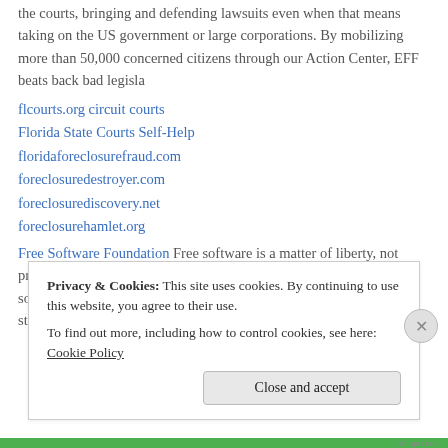the courts, bringing and defending lawsuits even when that means taking on the US government or large corporations. By mobilizing more than 50,000 concerned citizens through our Action Center, EFF beats back bad legisla
flcourts.org circuit courts
Florida State Courts Self-Help
floridaforeclosurefraud.com
foreclosuredestroyer.com
foreclosurediscovery.net
foreclosurehamlet.org
Free Software Foundation Free software is a matter of liberty, not price. Think of “free” as in “free speech,” not as in “free beer.” Free software is a matter of the users’ freedom to run, copy, distribute, study, change and
Privacy & Cookies: This site uses cookies. By continuing to use this website, you agree to their use.
To find out more, including how to control cookies, see here: Cookie Policy
Close and accept